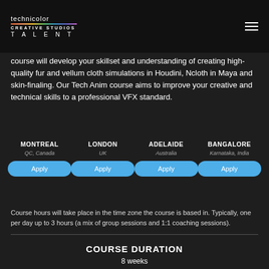technicolor CREATIVE STUDIOS TALENT
course will develop your skillset and understanding of creating high-quality fur and vellum cloth simulations in Houdini, Ncloth in Maya and skin-finaling. Our Tech Anim course aims to improve your creative and technical skills to a professional VFX standard.
MONTREAL QC, Canada | LONDON UK | ADELAIDE Australia | BANGALORE Karnataka, India
Course hours will take place in the time zone the course is based in. Typically, one per day up to 3 hours (a mix of group sessions and 1:1 coaching sessions).
COURSE DURATION
8 weeks